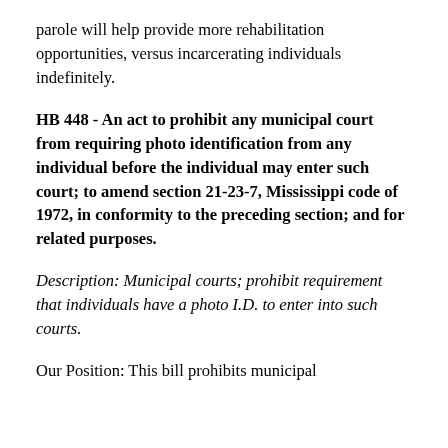parole will help provide more rehabilitation opportunities, versus incarcerating individuals indefinitely.
HB 448 - An act to prohibit any municipal court from requiring photo identification from any individual before the individual may enter such court; to amend section 21-23-7, Mississippi code of 1972, in conformity to the preceding section; and for related purposes.
Description: Municipal courts; prohibit requirement that individuals have a photo I.D. to enter into such courts.
Our Position: This bill prohibits municipal